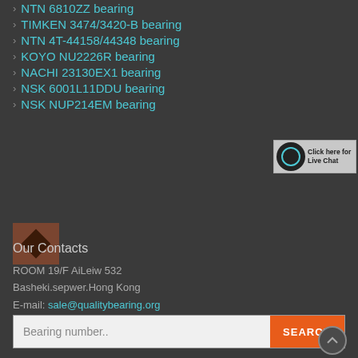NTN 6810ZZ bearing
TIMKEN 3474/3420-B bearing
NTN 4T-44158/44348 bearing
KOYO NU2226R bearing
NACHI 23130EX1 bearing
NSK 6001L11DDU bearing
NSK NUP214EM bearing
[Figure (screenshot): Live chat widget button with NTN logo and 'Click here for Live Chat' text]
Our Contacts
ROOM 19/F AiLeiw 532
Basheki.sepwer.Hong Kong
E-mail: sale@qualitybearing.org
Copyright © 2019. Company name All rights reserved. Sitemap
Bearing number..